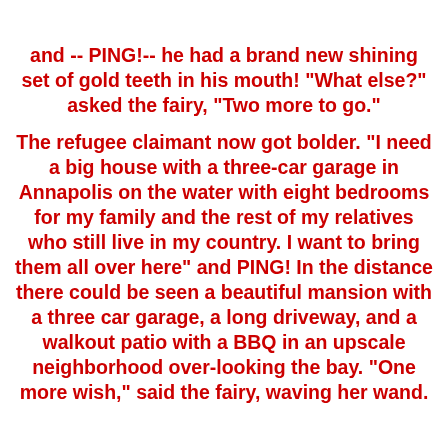and -- PING!-- he had a brand new shining set of gold teeth in his mouth! "What else?" asked the fairy, "Two more to go."
The refugee claimant now got bolder. "I need a big house with a three-car garage in Annapolis on the water with eight bedrooms for my family and the rest of my relatives who still live in my country. I want to bring them all over here" and PING! In the distance there could be seen a beautiful mansion with a three car garage, a long driveway, and a walkout patio with a BBQ in an upscale neighborhood over-looking the bay. "One more wish," said the fairy, waving her wand.